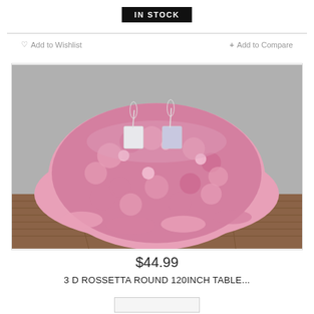IN STOCK
♡ Add to Wishlist
+ Add to Compare
[Figure (photo): Pink rosette round tablecloth draped over a round table set with glassware and place cards, photographed on a wood floor against a gray wall.]
$44.99
3 D ROSSETTA ROUND 120INCH TABLE...